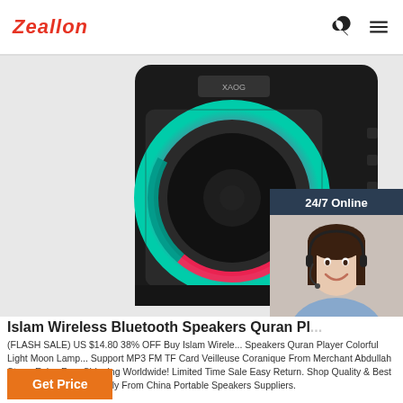Zeallon
[Figure (photo): A black portable Bluetooth speaker with colorful LED light ring (red/teal gradient) and mesh grille, displayed on white background. A customer service chat widget overlays the right side showing a smiling agent with headset, labeled '24/7 Online' and 'Click here for free chat!' with a QUOTATION button.]
Islam Wireless Bluetooth Speakers Quran Pl...
(FLASH SALE) US $14.80 38% OFF Buy Islam Wireless Bluetooth Speakers Quran Player Colorful Light Moon Lamp... Support MP3 FM TF Card Veilleuse Coranique From Merchant Abdullah Store. Enjoy Free Shipping Worldwide! Limited Time Sale Easy Return. Shop Quality & Best Portable Speakers Directly From China Portable Speakers Suppliers.
Get Price